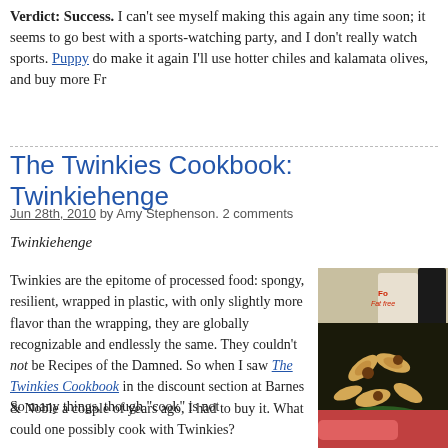Verdict: Success. I can't see myself making this again any time soon; it seems to go best with a sports-watching party, and I don't really watch sports. Puppy... do make it again I'll use hotter chiles and kalamata olives, and buy more Fr...
The Twinkies Cookbook: Twinkiehenge
Jun 28th, 2010 by Amy Stephenson. 2 comments
Twinkiehenge
Twinkies are the epitome of processed food: spongy, resilient, wrapped in plastic, with only slightly more flavor than the wrapping, they are globally recognizable and endlessly the same. They couldn't not be Recipes of the Damned. So when I saw The Twinkies Cookbook in the discount section at Barnes & Noble a couple of years ago, I had to buy it. What could one possibly cook with Twinkies?
[Figure (photo): Photo of Twinkiehenge food arrangement - Twinkies arranged like Stonehenge in dark crumbled cookie soil in a green bowl, with dairy products visible in background]
So many things, though "cook" is not
[Figure (photo): Partial photo visible at bottom right, appears to show red object]